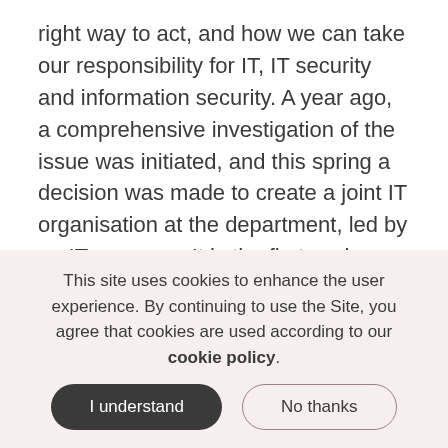right way to act, and how we can take our responsibility for IT, IT security and information security. A year ago, a comprehensive investigation of the issue was initiated, and this spring a decision was made to create a joint IT organisation at the department, led by an IT manager. It is the first such organization at the university. We can now tell you that the new IT manager at the physical department will be Tomas Karlsson, who will take over on August 15. He will begin his work by forming an opinion about our needs in the department's various activities and support us in finding the best ways
This site uses cookies to enhance the user experience. By continuing to use the Site, you agree that cookies are used according to our cookie policy.